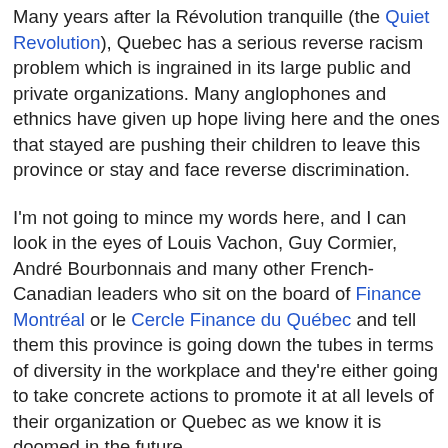Many years after la Révolution tranquille (the Quiet Revolution), Quebec has a serious reverse racism problem which is ingrained in its large public and private organizations. Many anglophones and ethnics have given up hope living here and the ones that stayed are pushing their children to leave this province or stay and face reverse discrimination.
I'm not going to mince my words here, and I can look in the eyes of Louis Vachon, Guy Cormier, André Bourbonnais and many other French-Canadian leaders who sit on the board of Finance Montréal or le Cercle Finance du Québec and tell them this province is going down the tubes in terms of diversity in the workplace and they're either going to take concrete actions to promote it at all levels of their organization or Quebec as we know it is doomed in the future.
By the way, I would say the exact same thing to Premier Philippe Couillard and Prime Minister